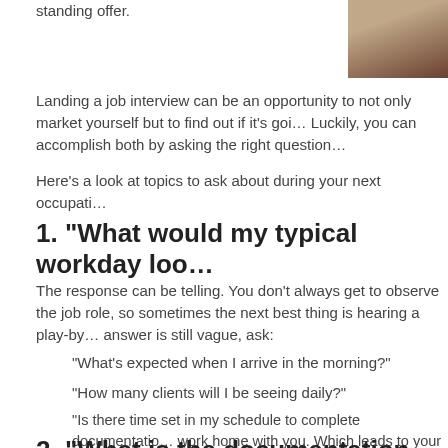standing offer.
[Figure (photo): Photo of a person in brown/dark clothing against a grey background, cropped to show upper body/shoulder area]
Landing a job interview can be an opportunity to not only market yourself but to find out if it's goi… Luckily, you can accomplish both by asking the right question…
Here's a look at topics to ask about during your next occupati…
1. “What would my typical workday loo…
The response can be telling. You don’t always get to observe the job role, so sometimes the next best thing is hearing a play-by… answer is still vague, ask:
“What’s expected when I arrive in the morning?”
“How many clients will I be seeing daily?”
“Is there time set in my schedule to complete documentatio… work home with you. Which leads to your follow-up questio…
2. “What is the documentation and r…